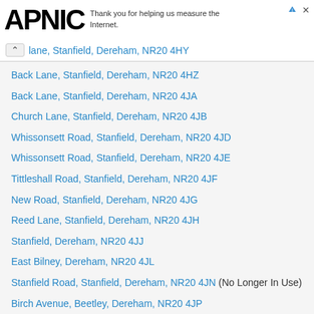APNIC — Thank you for helping us measure the Internet.
lane, Stanfield, Dereham, NR20 4HY
Back Lane, Stanfield, Dereham, NR20 4HZ
Back Lane, Stanfield, Dereham, NR20 4JA
Church Lane, Stanfield, Dereham, NR20 4JB
Whissonsett Road, Stanfield, Dereham, NR20 4JD
Whissonsett Road, Stanfield, Dereham, NR20 4JE
Tittleshall Road, Stanfield, Dereham, NR20 4JF
New Road, Stanfield, Dereham, NR20 4JG
Reed Lane, Stanfield, Dereham, NR20 4JH
Stanfield, Dereham, NR20 4JJ
East Bilney, Dereham, NR20 4JL
Stanfield Road, Stanfield, Dereham, NR20 4JN (No Longer In Use)
Birch Avenue, Beetley, Dereham, NR20 4JP